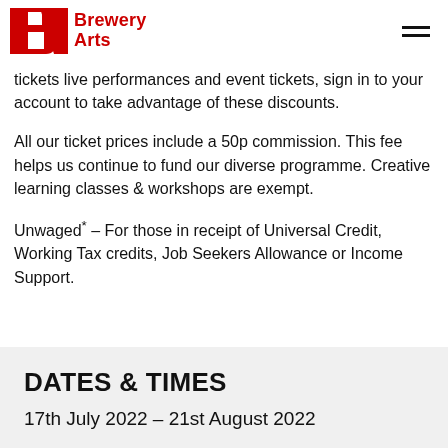Brewery Arts
tickets live performances and event tickets, sign in to your account to take advantage of these discounts.
All our ticket prices include a 50p commission. This fee helps us continue to fund our diverse programme. Creative learning classes & workshops are exempt.
Unwaged* – For those in receipt of Universal Credit, Working Tax credits, Job Seekers Allowance or Income Support.
DATES & TIMES
17th July 2022 – 21st August 2022